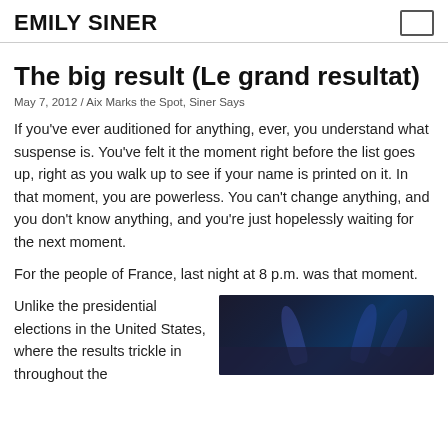EMILY SINER
The big result (Le grand resultat)
May 7, 2012 / Aix Marks the Spot, Siner Says
If you've ever auditioned for anything, ever, you understand what suspense is. You've felt it the moment right before the list goes up, right as you walk up to see if your name is printed on it. In that moment, you are powerless. You can't change anything, and you don't know anything, and you're just hopelessly waiting for the next moment.
For the people of France, last night at 8 p.m. was that moment.
Unlike the presidential elections in the United States, where the results trickle in throughout the
[Figure (photo): Dark photo of a concert or event stage with blue/purple stage lighting and a crowd visible in the foreground]